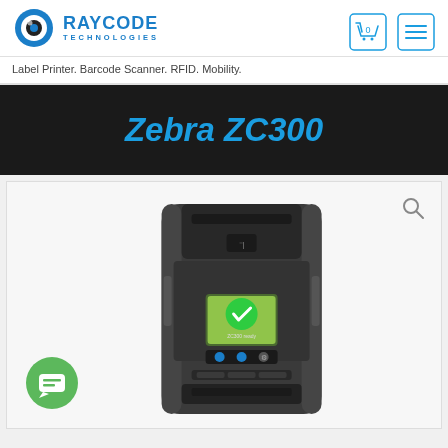[Figure (logo): Raycode Technologies logo with circular eye icon in blue]
Label Printer. Barcode Scanner. RFID. Mobility.
Zebra ZC300
[Figure (photo): Zebra ZC300 card printer front view showing dark grey body with touchscreen display and green checkmark status indicator]